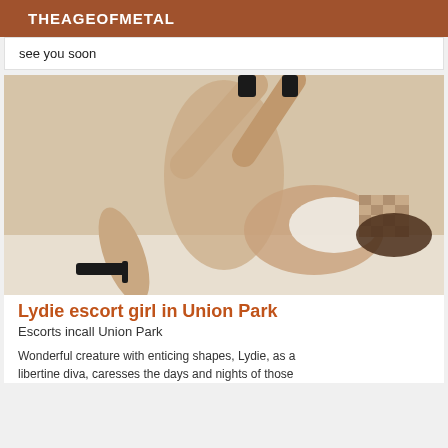THEAGEOFMETAL
see you soon
[Figure (photo): Woman posing on a bed wearing high heels and white lingerie, face pixelated]
Lydie escort girl in Union Park
Escorts incall Union Park
Wonderful creature with enticing shapes, Lydie, as a libertine diva, caresses the days and nights of those